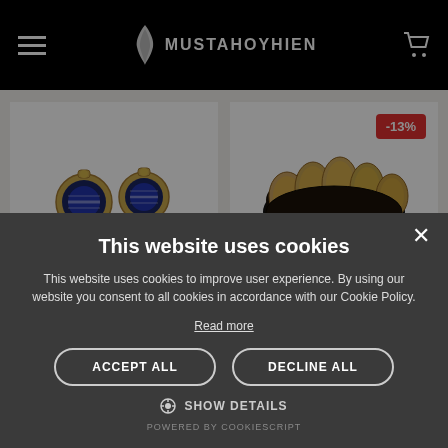[Figure (logo): Mustahoyhien website navigation bar with hamburger menu, feather logo, and cart icon on black background]
[Figure (photo): Product photo of decorative earrings with blue stone on white background]
[Figure (photo): Product photo of a dark bracelet with amber/gold colored stones on white background, with -13% discount badge]
This website uses cookies
This website uses cookies to improve user experience. By using our website you consent to all cookies in accordance with our Cookie Policy.
Read more
ACCEPT ALL
DECLINE ALL
SHOW DETAILS
POWERED BY COOKIESCRIPT